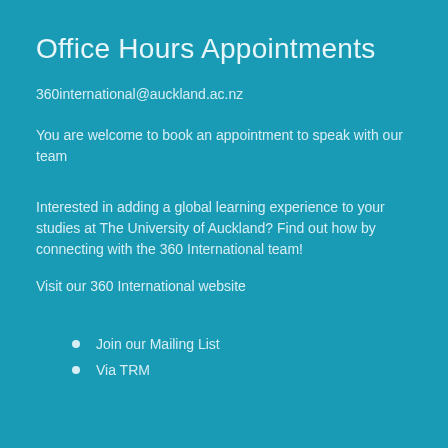Office Hours Appointments
360international@auckland.ac.nz
You are welcome to book an appointment to speak with our team
Interested in adding a global learning experience to your studies at The University of Auckland? Find out how by connecting with the 360 International team!
Visit our 360 International website
Join our Mailing List
Via TRM